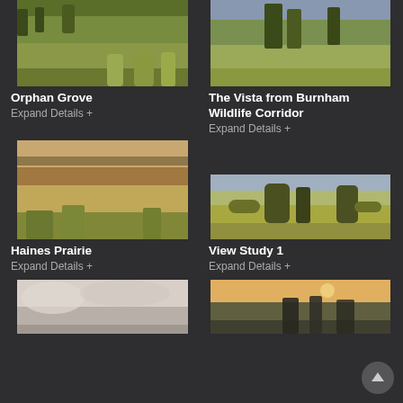[Figure (photo): Landscape photo of Orphan Grove with yellow wildflowers and green shrubs]
Orphan Grove
Expand Details +
[Figure (photo): Landscape photo of The Vista from Burnham Wildlife Corridor with trees and prairie wildflowers]
The Vista from Burnham Wildlife Corridor
Expand Details +
[Figure (photo): Landscape photo of Haines Prairie with tall grasses and shrubs]
Haines Prairie
Expand Details +
[Figure (photo): Wide landscape photo of View Study 1 with open prairie and scattered trees]
View Study 1
Expand Details +
[Figure (photo): Partial landscape photo at bottom left, cloudy sky and muted tones]
[Figure (photo): Partial landscape photo at bottom right, warm sunset tones with silhouetted trees]